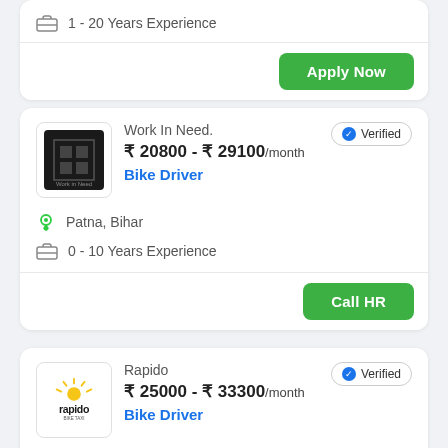1 - 20 Years Experience
Apply Now
Work In Need.
₹ 20800 - ₹ 29100/month
Bike Driver
Verified
Patna, Bihar
0 - 10 Years Experience
Call HR
Rapido
₹ 25000 - ₹ 33300/month
Bike Driver
Verified
Phulwari Sharif, Bihar